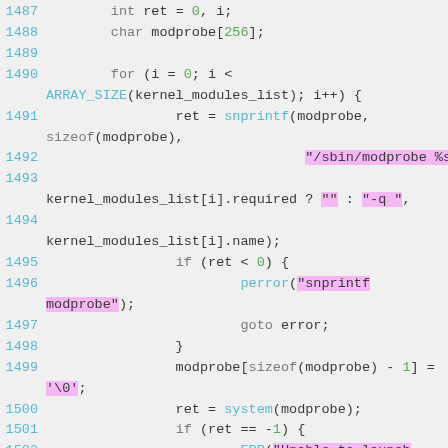[Figure (screenshot): Syntax-highlighted C source code lines 1487-1503 showing a for loop that uses snprintf and system to invoke modprobe for kernel modules, with error checking via perror and ERR macros.]